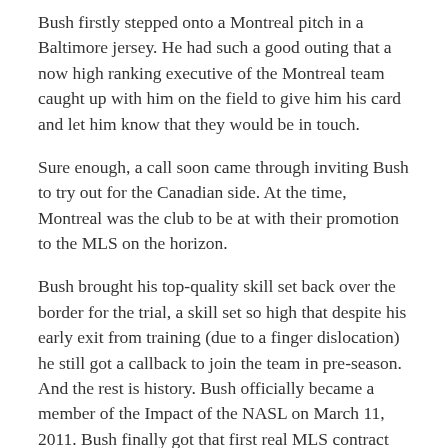Bush firstly stepped onto a Montreal pitch in a Baltimore jersey. He had such a good outing that a now high ranking executive of the Montreal team caught up with him on the field to give him his card and let him know that they would be in touch.
Sure enough, a call soon came through inviting Bush to try out for the Canadian side. At the time, Montreal was the club to be at with their promotion to the MLS on the horizon.
Bush brought his top-quality skill set back over the border for the trial, a skill set so high that despite his early exit from training (due to a finger dislocation) he still got a callback to join the team in pre-season. And the rest is history. Bush officially became a member of the Impact of the NASL on March 11, 2011. Bush finally got that first real MLS contract on October 21, 2011 when the Impact extended the offer for him to remain during their inaugural MLS season.
While extending that first major league deal to Bush may appear to